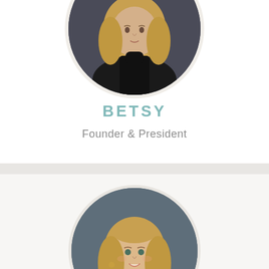[Figure (photo): Circular portrait photo of Betsy, a woman with long blonde wavy hair wearing a black turtleneck, against a dark grey background.]
BETSY
Founder & President
[Figure (photo): Circular portrait photo of a smiling woman with wavy blonde hair and gold hoop earrings, against a grey-blue background.]